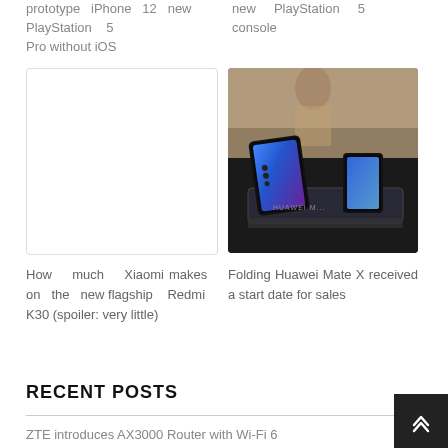prototype iPhone 12 Pro without iOS
new PlayStation 5 console
[Figure (photo): Blank/white placeholder image card]
[Figure (photo): Folding Huawei Mate X phone on display stand with blue screen glow, HUAWEI branding visible on stand]
How much Xiaomi makes on the new flagship Redmi K30 (spoiler: very little)
Folding Huawei Mate X received a start date for sales
RECENT POSTS
ZTE introduces AX3000 Router with Wi-Fi 6